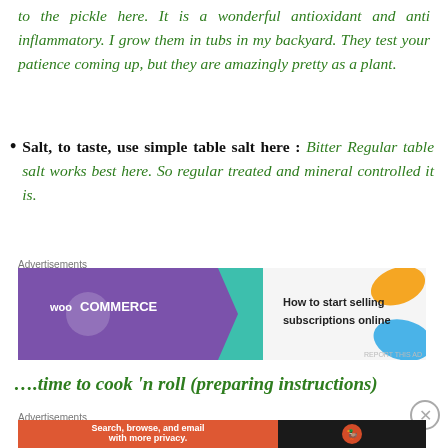to the pickle here. It is a wonderful antioxidant and anti inflammatory. I grow them in tubs in my backyard. They test your patience coming up, but they are amazingly pretty as a plant.
Salt, to taste, use simple table salt here : Bitter Regular table salt works best here. So regular treated and mineral controlled it is.
[Figure (other): WooCommerce advertisement banner: 'How to start selling subscriptions online']
….time to cook 'n roll (preparing instructions)
[Figure (other): DuckDuckGo advertisement banner: 'Search, browse, and email with more privacy. All in One Free App']